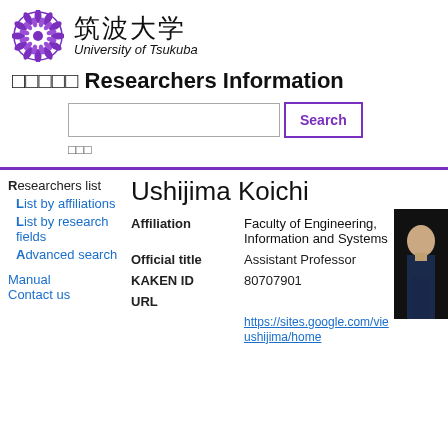[Figure (logo): University of Tsukuba logo: stylized purple chrysanthemum emblem]
筑波大学 University of Tsukuba
□□□□□ Researchers Information
Search button and search input field
□□□
Ushijima Koichi
| Field | Value |
| --- | --- |
| Affiliation | Faculty of Engineering, Information and Systems |
| Official title | Assistant Professor |
| KAKEN ID | 80707901 |
| URL | https://sites.google.com/vie ushijima/home |
[Figure (photo): Photo of Ushijima Koichi, a man in dark suit against dark background]
Researchers list
List by affiliations
List by research fields
Advanced search
Manual
Contact us